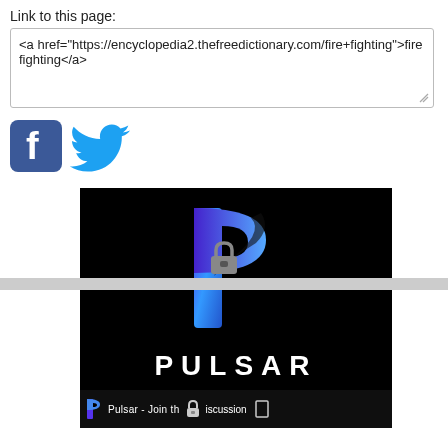Link to this page:
<a href="https://encyclopedia2.thefreedictionary.com/fire+fighting">fire fighting</a>
[Figure (logo): Facebook logo icon — blue square with white 'f']
[Figure (logo): Twitter bird logo icon in blue]
[Figure (illustration): Pulsar app advertisement on black background with blue gradient 'P' logo and white PULSAR text, bottom bar showing 'Pulsar - Join th...iscussion']